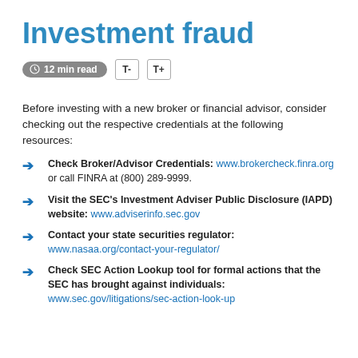Investment fraud
12 min read
Before investing with a new broker or financial advisor, consider checking out the respective credentials at the following resources:
Check Broker/Advisor Credentials: www.brokercheck.finra.org or call FINRA at (800) 289-9999.
Visit the SEC's Investment Adviser Public Disclosure (IAPD) website: www.adviserinfo.sec.gov
Contact your state securities regulator: www.nasaa.org/contact-your-regulator/
Check SEC Action Lookup tool for formal actions that the SEC has brought against individuals: www.sec.gov/litigations/sec-action-look-up